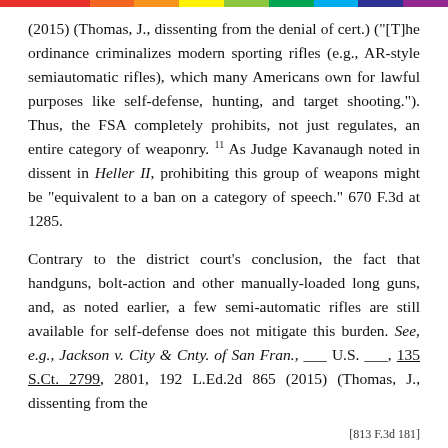(2015) (Thomas, J., dissenting from the denial of cert.) ("[T]he ordinance criminalizes modern sporting rifles (e.g., AR-style semiautomatic rifles), which many Americans own for lawful purposes like self-defense, hunting, and target shooting."). Thus, the FSA completely prohibits, not just regulates, an entire category of weaponry. 11 As Judge Kavanaugh noted in dissent in Heller II, prohibiting this group of weapons might be "equivalent to a ban on a category of speech." 670 F.3d at 1285.
Contrary to the district court's conclusion, the fact that handguns, bolt-action and other manually-loaded long guns, and, as noted earlier, a few semi-automatic rifles are still available for self-defense does not mitigate this burden. See, e.g., Jackson v. City & Cnty. of San Fran., ___ U.S. ___, 135 S.Ct. 2799, 2801, 192 L.Ed.2d 865 (2015) (Thomas, J., dissenting from the
[813 F.3d 181]